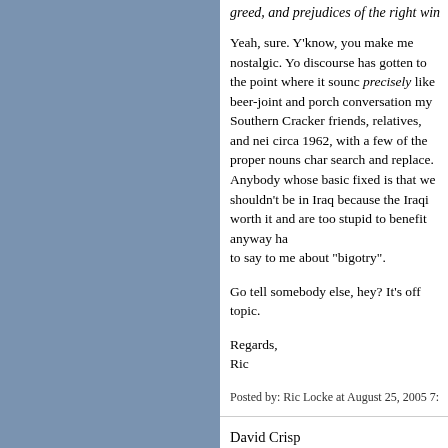greed, and prejudices of the right wing
Yeah, sure. Y'know, you make me nostalgic. Yo discourse has gotten to the point where it soun precisely like beer-joint and porch conversations my Southern Cracker friends, relatives, and nei circa 1962, with a few of the proper nouns cha search and replace. Anybody whose basic fixed is that we shouldn't be in Iraq because the Iraqi worth it and are too stupid to benefit anyway ha to say to me about "bigotry".
Go tell somebody else, hey? It's off topic.
Regards,
Ric
Posted by: Ric Locke at August 25, 2005 7:13 PM | Perm
David Crisp
You bring up some good points about perspecti